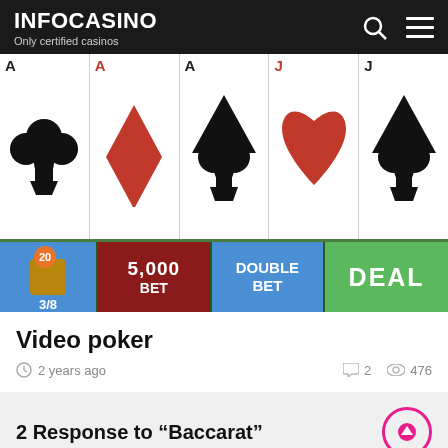INFOCASINO — Only certified casinos
[Figure (screenshot): Video poker game screenshot showing five playing cards (Ace of clubs, Ace of diamonds, Ace of spades, Jack of hearts, Jack of spades) with a green game interface showing 3/8, 5,000 BET, DOUBLE BET, DEAL buttons, and gold chips at the bottom with a pink 'Games' tag]
Video poker
2 years ago  2  476
2 Response to “Baccarat”